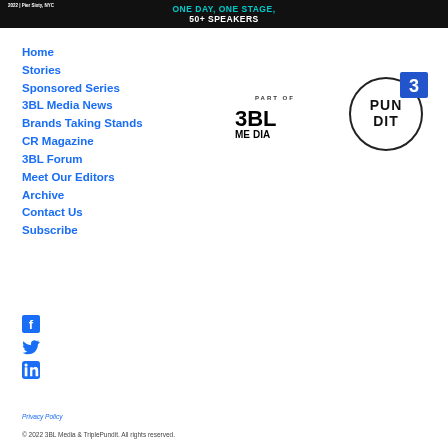[Figure (illustration): Dark banner advertisement with teal and white text reading '2022 | Pier Sixty, NYC | ONE DAY, ONE STAGE, 50+ SPEAKERS']
Home
Stories
Sponsored Series
3BL Media News
Brands Taking Stands
CR Magazine
3BL Forum
Meet Our Editors
Archive
Contact Us
Subscribe
[Figure (logo): 3BL Media logo with 'PART OF' text above]
[Figure (logo): TriplePundit 3 Pundit circular logo with number 3 in blue square]
[Figure (logo): Facebook icon in blue]
[Figure (logo): Twitter bird icon in blue]
[Figure (logo): LinkedIn icon in blue]
Privacy Policy
© 2022 3BL Media & TriplePundit. All rights reserved.